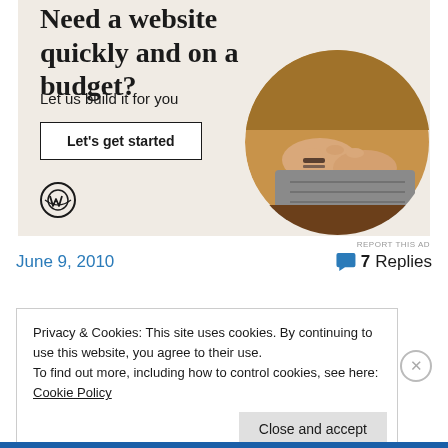[Figure (illustration): WordPress advertisement banner with beige background. Heading 'Need a website quickly and on a budget?', subtext 'Let us build it for you', a white button 'Let’s get started', a circular photo of hands typing on a laptop, and the WordPress logo at the bottom left.]
REPORT THIS AD
June 9, 2010
7 Replies
Privacy & Cookies: This site uses cookies. By continuing to use this website, you agree to their use.
To find out more, including how to control cookies, see here: Cookie Policy
Close and accept